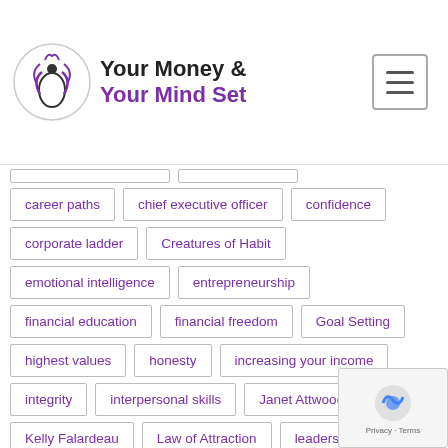Your Money & Your Mind Set
career paths
chief executive officer
confidence
corporate ladder
Creatures of Habit
emotional intelligence
entrepreneurship
financial education
financial freedom
Goal Setting
highest values
honesty
increasing your income
integrity
interpersonal skills
Janet Attwood
Kelly Falardeau
Law of Attraction
leadership
limitless wealth
Lorwai TAN
making business contacts
Mind Movies
Money Mastery for Women
money mindset